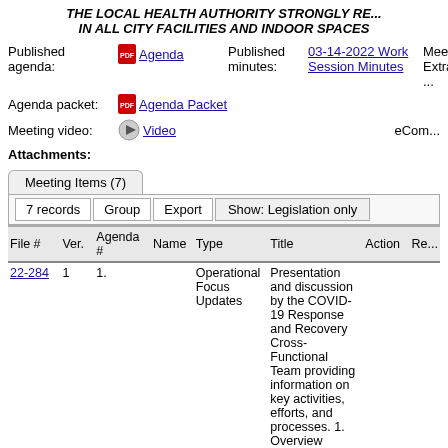THE LOCAL HEALTH AUTHORITY STRONGLY RE... IN ALL CITY FACILITIES AND INDOOR SPACES
Published agenda: Agenda | Published minutes: 03-14-2022 Work Session Minutes | Meeting Extra...
Agenda packet: Agenda Packet
Meeting video: Video | eCom...
Attachments:
| File # | Ver. | Agenda # | Name | Type | Title | Action | Re... |
| --- | --- | --- | --- | --- | --- | --- | --- |
| 22-284 | 1 | 1. |  | Operational Focus Updates | Presentation and discussion by the COVID-19 Response and Recovery Cross-Functional Team providing information on key activities, efforts, and processes. 1. Overview (Tommy |  |  |